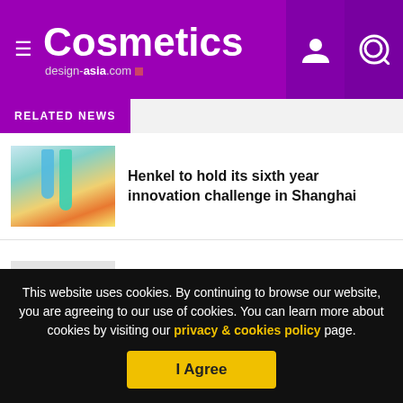Cosmetics design-asia.com
RELATED NEWS
Henkel to hold its sixth year innovation challenge in Shanghai
[Figure (photo): Lab photo with test tubes and researcher]
Henkel's German workforce hit by job cuts
[Figure (logo): WilliamReed. logo on grey background]
This website uses cookies. By continuing to browse our website, you are agreeing to our use of cookies. You can learn more about cookies by visiting our privacy & cookies policy page.
I Agree